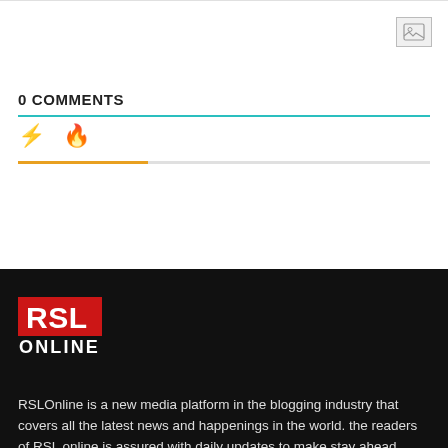[Figure (other): Image placeholder icon (gray box with mountain/image icon)]
0 COMMENTS
[Figure (other): Tab icons: lightning bolt (yellow) and flame (orange), with colored underline tabs]
[Figure (logo): RSL Online logo: red rectangle with white RSL text, white ONLINE below]
RSLOnline is a new media platform in the blogging industry that covers all the latest news and happenings in the world. the readers of RSL online is assured with daily updates to make stay ahead